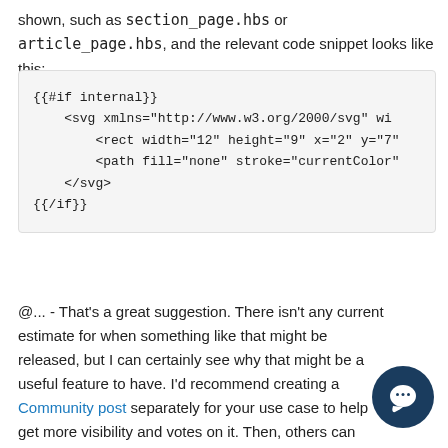shown, such as section_page.hbs or article_page.hbs, and the relevant code snippet looks like this:
{{#if internal}}
    <svg xmlns="http://www.w3.org/2000/svg" wi
        <rect width="12" height="9" x="2" y="7"
        <path fill="none" stroke="currentColor"
    </svg>
{{/if}}
@... - That's a great suggestion. There isn't any current estimate for when something like that might be released, but I can certainly see why that might be a useful feature to have. I'd recommend creating a Community post separately for your use case to help get more visibility and votes on it. Then, others can share their use cases to further drive demand for that feature.